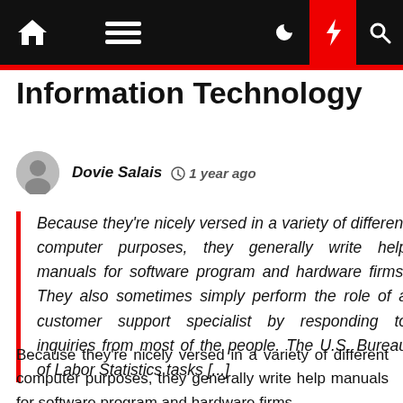Information Technology
Dovie Salais  1 year ago
Because they're nicely versed in a variety of different computer purposes, they generally write help manuals for software program and hardware firms. They also sometimes simply perform the role of a customer support specialist by responding to inquiries from most of the people. The U.S. Bureau of Labor Statistics tasks [...]
Because they're nicely versed in a variety of different computer purposes, they generally write help manuals for software program and hardware firms.